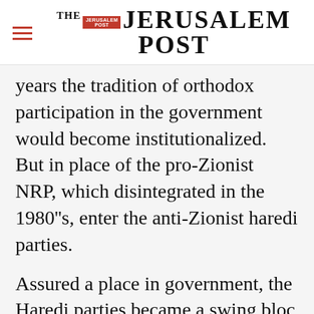THE JERUSALEM POST
years the tradition of orthodox participation in the government would become institutionalized. But in place of the pro-Zionist NRP, which disintegrated in the 1980''s, enter the anti-Zionist haredi parties.
Assured a place in government, the Haredi parties became a swing bloc in Israeli coalition
Advertisement